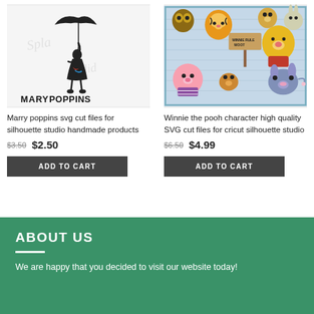[Figure (illustration): Mary Poppins silhouette SVG illustration with umbrella, black figure on white background with text MARY POPPINS]
Marry poppins svg cut files for silhouette studio handmade products
$3.50  $2.50
ADD TO CART
[Figure (illustration): Winnie the Pooh characters collection including Tigger, Piglet, Pooh, Eeyore, Kanga, owl and others on light blue background]
Winnie the pooh character high quality SVG cut files for cricut silhouette studio
$6.50  $4.99
ADD TO CART
ABOUT US
We are happy that you decided to visit our website today!